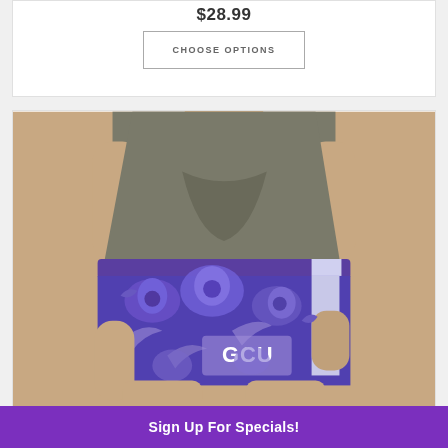$28.99
CHOOSE OPTIONS
[Figure (photo): Woman wearing purple GCU-branded floral board shorts with tropical hibiscus print, paired with a gray t-shirt. The shorts are purple with lighter purple floral Hawaiian pattern and white GCU logo text on the leg.]
Sign Up For Specials!